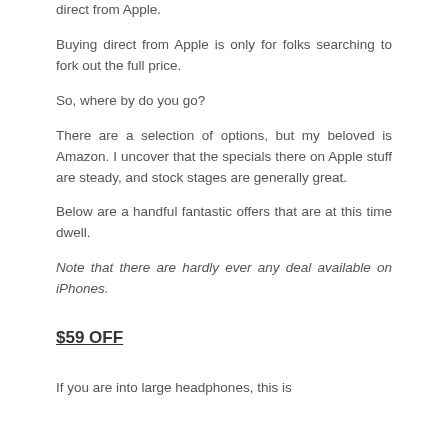direct from Apple.
Buying direct from Apple is only for folks searching to fork out the full price.
So, where by do you go?
There are a selection of options, but my beloved is Amazon. I uncover that the specials there on Apple stuff are steady, and stock stages are generally great.
Below are a handful fantastic offers that are at this time dwell.
Note that there are hardly ever any deal available on iPhones.
$59 OFF
If you are into large headphones, this is